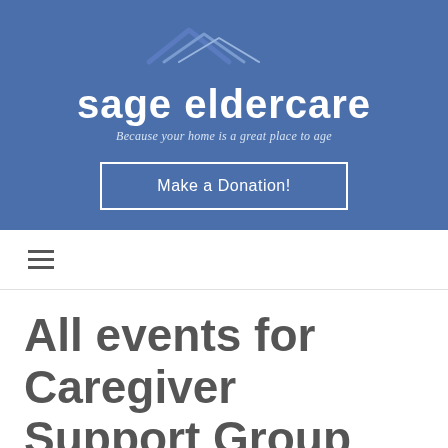[Figure (logo): Sage Eldercare logo with house/roof icon above the text 'sage eldercare' and tagline 'Because your home is a great place to age' on a blue background]
Make a Donation!
≡
All events for Caregiver Support Group for Adult